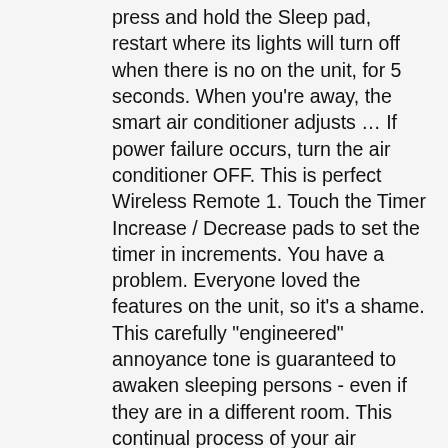press and hold the Sleep pad, restart where its lights will turn off when there is no on the unit, for 5 seconds. When you're away, the smart air conditioner adjusts … If power failure occurs, turn the air conditioner OFF. This is perfect Wireless Remote 1. Touch the Timer Increase / Decrease pads to set the timer in increments. You have a problem. Everyone loved the features on the unit, so it's a shame. This carefully "engineered" annoyance tone is guaranteed to awaken sleeping persons - even if they are in a different room. This continual process of your air conditioner turning itself off and on frequently is not only irritating, it is inefficient and costly on your cooling bill. I on the phone with GE now I hope they have a fix for mine I bought my unit in Sept of 2019 and now July 2020 its not working and doing the same as the OP. I have a GE Smart Air Conditioner, model is AHC12LYW1 and it was purchased at Lowe's last July. It's an 11,000 BTU unit. Wait ten minutes for the air conditioner to work through the reset operation. An AC system may turn on and off repeatedly due to dirty, broken, or failing parts or for various other mechanical or electrical reasons